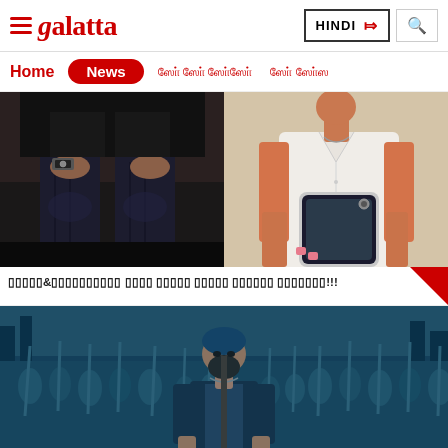Galatta - HINDI - Navigation header with Home, News menu
[Figure (photo): Two side-by-side photos: left shows person in dark clothing/jeans with a watch; right shows person in white shirt taking a mirror selfie with a smartphone]
oooooo&ooooooooooo oooo ooooo ooooo oooooo ooooooo!!!
[Figure (photo): Movie scene showing a bearded man in dark clothing surrounded by a crowd of people holding sticks/weapons, with a blue-teal color tone (KGF style)]